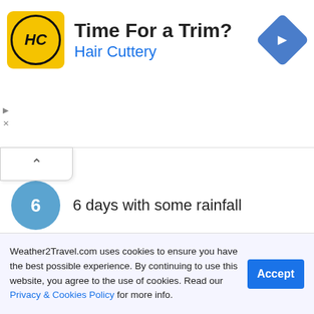[Figure (infographic): Hair Cuttery advertisement banner with yellow logo, 'Time For a Trim?' headline, 'Hair Cuttery' subtitle in blue, and a blue navigation arrow icon on the right]
6 days with some rainfall
No heat & humidity
53 mm of monthly rainfall
21°C sea temperature
Cyprus holidays in November
Weather2Travel.com uses cookies to ensure you have the best possible experience. By continuing to use this website, you agree to the use of cookies. Read our Privacy & Cookies Policy for more info.